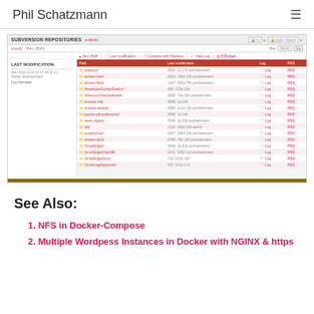Phil Schatzmann
[Figure (screenshot): Screenshot of a Subversion repository browser showing SUBVERSION REPOSITORIES > MAIN, at (root)/ Rev 3549, with a list of folders including common/, docker-core/, docker-flask/, HazeltcastDockerSwarm/, InMemoryStarDatabase/, investor-d4j/, investor-etrade/, jupyter-jdk-extensions/, news-digest/, obj/, scriptoid-ws/, shopan-java/, SmartEdgar/, SmartEdgarStarDB/, SmartEdgarAlco/, SmartLoglAppender/ and their last modification details.]
See Also:
NFS in Docker-Compose
Multiple Wordpess Instances in Docker with NGINX & https